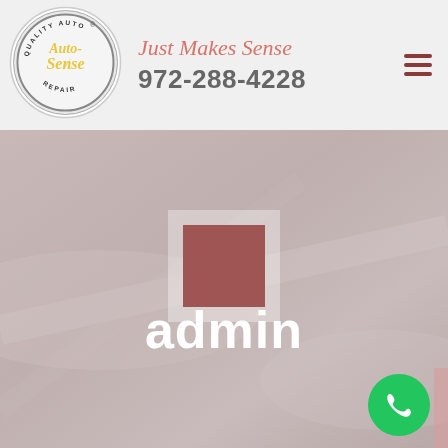[Figure (logo): Auto-Sense Quality Auto Repair circular logo with yellow script text and lightning bolt graphic]
Just Makes Sense
972-288-4228
[Figure (other): Hero banner background showing a blurred car/automotive scene with a centered user avatar placeholder (dark reddish square with white border), and green phone call button at bottom right]
admin